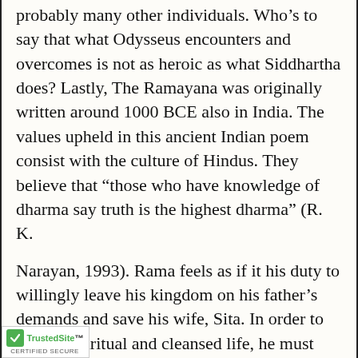probably many other individuals. Who's to say that what Odysseus encounters and overcomes is not as heroic as what Siddhartha does? Lastly, The Ramayana was originally written around 1000 BCE also in India. The values upheld in this ancient Indian poem consist with the culture of Hindus. They believe that “those who have knowledge of dharma say truth is the highest dharma” (R. K.
Narayan, 1993). Rama feels as if it his duty to willingly leave his kingdom on his father’s demands and save his wife, Sita. In order to leave a spiritual and cleansed life, he must practice good dharma, or righteousness and duty. This is an important aspect of Hinduism. ic story has a different audience, so